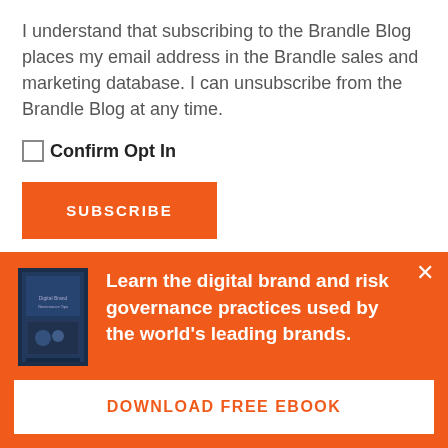I understand that subscribing to the Brandle Blog places my email address in the Brandle sales and marketing database. I can unsubscribe from the Brandle Blog at any time.
Confirm Opt In
SUBSCRIBE
Learn the digital brand and risk governance practices used by the world's leading brands.
DOWNLOAD FREE EBOOK